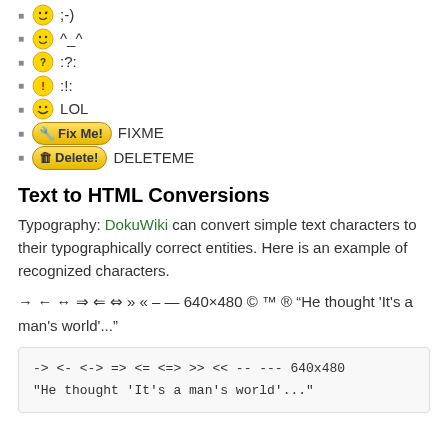;-)
^_^
:?:
:!:
LOL
Fix Me! FIXME
Delete! DELETEME
Text to HTML Conversions
Typography: DokuWiki can convert simple text characters to their typographically correct entities. Here is an example of recognized characters.
→ ← ↔ ⇒ ⇐ ⇔ » « – — 640×480 © ™ ® “He thought 'It's a man's world'...”
-> <- <-> => <= <=> >> << -- --- 640x480
"He thought 'It's a man's world'..."